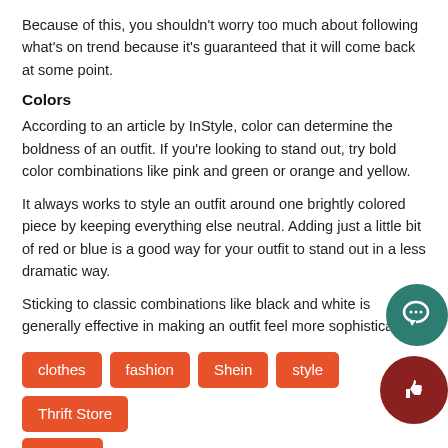Because of this, you shouldn't worry too much about following what's on trend because it's guaranteed that it will come back at some point.
Colors
According to an article by InStyle, color can determine the boldness of an outfit. If you're looking to stand out, try bold color combinations like pink and green or orange and yellow.
It always works to style an outfit around one brightly colored piece by keeping everything else neutral. Adding just a little bit of red or blue is a good way for your outfit to stand out in a less dramatic way.
Sticking to classic combinations like black and white is generally effective in making an outfit feel more sophisticated.
clothes
fashion
Shein
style
Thrift Store
thrifting
[Figure (illustration): Green circle button with speech bubble icon (comment button)]
[Figure (illustration): Dark red circle button with thumbs up icon (like button)]